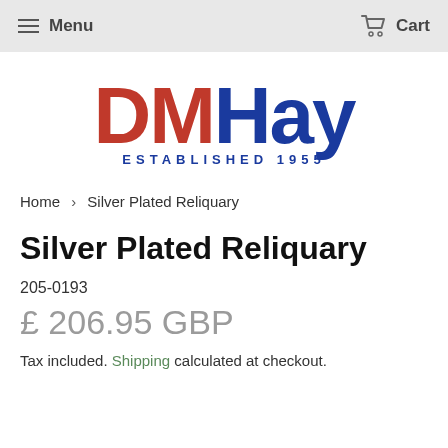Menu   Cart
[Figure (logo): DMHay Established 1955 logo — DM in red, Hay in blue, ESTABLISHED 1955 below in blue]
Home › Silver Plated Reliquary
Silver Plated Reliquary
205-0193
£ 206.95 GBP
Tax included. Shipping calculated at checkout.